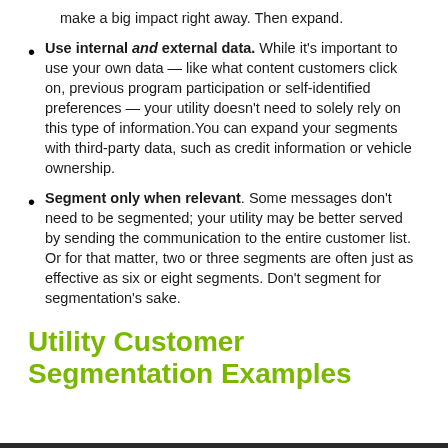make a big impact right away. Then expand.
Use internal and external data. While it’s important to use your own data — like what content customers click on, previous program participation or self-identified preferences — your utility doesn’t need to solely rely on this type of information.You can expand your segments with third-party data, such as credit information or vehicle ownership.
Segment only when relevant. Some messages don’t need to be segmented; your utility may be better served by sending the communication to the entire customer list. Or for that matter, two or three segments are often just as effective as six or eight segments. Don’t segment for segmentation’s sake.
Utility Customer Segmentation Examples